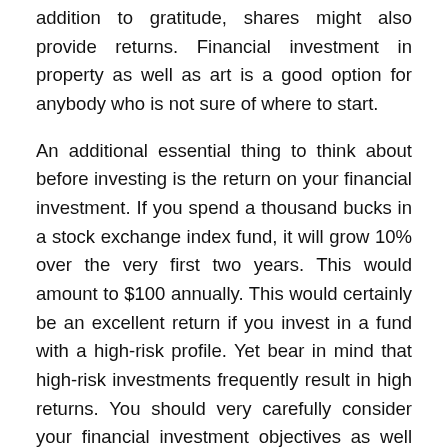addition to gratitude, shares might also provide returns. Financial investment in property as well as art is a good option for anybody who is not sure of where to start.
An additional essential thing to think about before investing is the return on your financial investment. If you spend a thousand bucks in a stock exchange index fund, it will grow 10% over the very first two years. This would amount to $100 annually. This would certainly be an excellent return if you invest in a fund with a high-risk profile. Yet bear in mind that high-risk investments frequently result in high returns. You should very carefully consider your financial investment objectives as well as choose